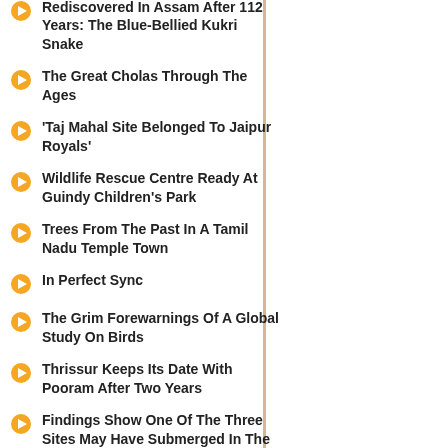Rediscovered In Assam After 112 Years: The Blue-Bellied Kukri Snake
The Great Cholas Through The Ages
'Taj Mahal Site Belonged To Jaipur Royals'
Wildlife Rescue Centre Ready At Guindy Children's Park
Trees From The Past In A Tamil Nadu Temple Town
In Perfect Sync
The Grim Forewarnings Of A Global Study On Birds
Thrissur Keeps Its Date With Pooram After Two Years
Findings Show One Of The Three Sites May Have Submerged In The First Century
Heritage By-Laws For Protected Sites And Monuments Soon
Rajamala Safest Haven For Nilgiri Tahr